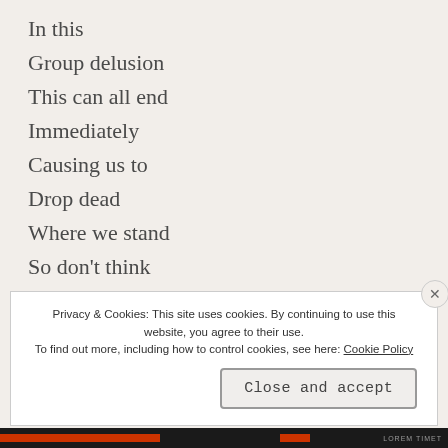In this
Group delusion
This can all end
Immediately
Causing us to
Drop dead
Where we stand
So don’t think
You’re special
Over another
Privacy & Cookies: This site uses cookies. By continuing to use this website, you agree to their use.
To find out more, including how to control cookies, see here: Cookie Policy
Close and accept